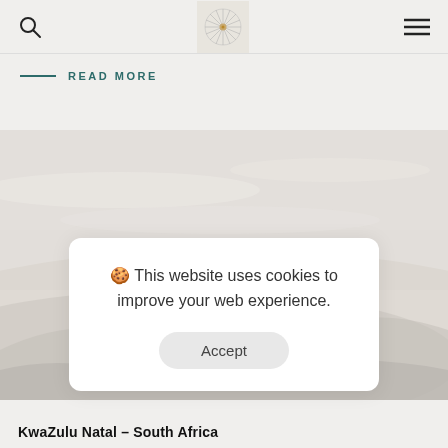Search | Logo | Menu
READ MORE
[Figure (photo): Misty landscape with soft mountains and hazy sky, light grey and beige tones, KwaZulu Natal South Africa]
🍪 This website uses cookies to improve your web experience.
Accept
KwaZulu Natal – South Africa